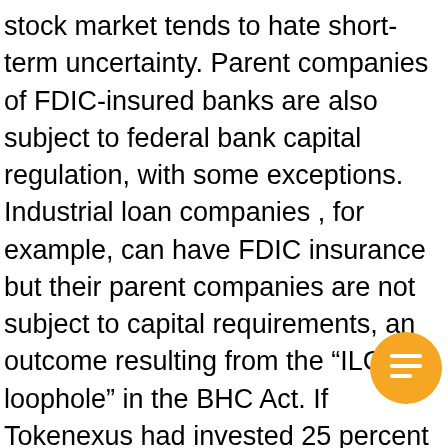stock market tends to hate short-term uncertainty. Parent companies of FDIC-insured banks are also subject to federal bank capital regulation, with some exceptions. Industrial loan companies , for example, can have FDIC insurance but their parent companies are not subject to capital requirements, an outcome resulting from the “ILC loophole” in the BHC Act. If Tokenexus had invested 25 percent in 30-year Treasuries or in long-term corporate debt, its capital would have been reduced to zero in one day. Going back to the above example, if Tokenexus Financial had capital equal to 4 percent of assets, say, it would not default because the deposits would be less than the reserves by 4 percent. We’re firm believers in the Golden Rule, which is why